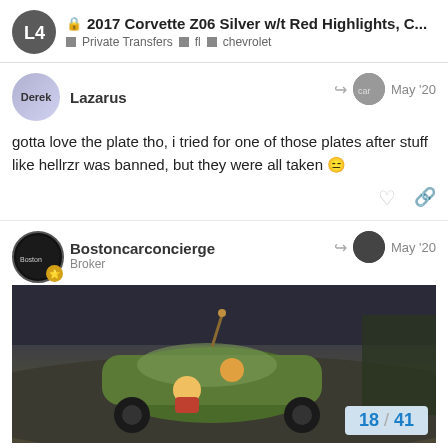2017 Corvette Z06 Silver w/t Red Highlights, C... | Private Transfers | fl | chevrolet
Lazarus
May '20
gotta love the plate tho, i tried for one of those plates after stuff like hellrzr was banned, but they were all taken 😑
Bostoncarconcierge
Broker
May '20
[Figure (screenshot): Screenshot of a Simpsons animated scene showing Homer Simpson in a vehicle, dark background with a cartoon character visible]
18 / 41